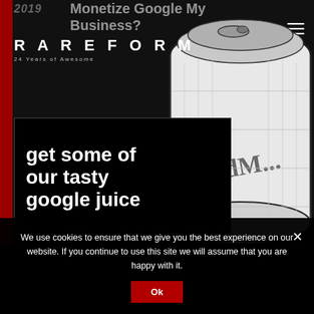2019
Monetize Google My Business?
[Figure (logo): RAREFORM logo with tagline '24 Years of Awesome']
[Figure (illustration): Hand-drawn illustration of a Red Bull soda can viewed from top-angle, black and white line art style, with 'RedM...' text visible on the can]
get some of our tasty google juice
We use cookies to ensure that we give you the best experience on our website. If you continue to use this site we will assume that you are happy with it.
Ok